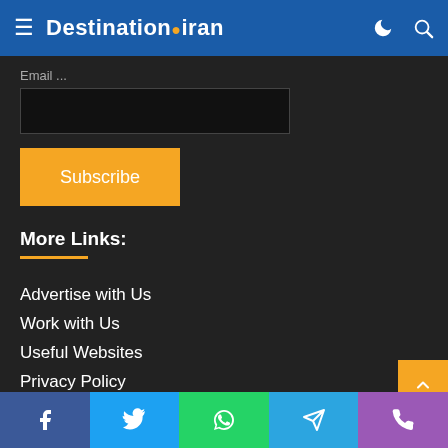DestinationIran
Email address input field
Subscribe
More Links:
Advertise with Us
Work with Us
Useful Websites
Privacy Policy
About Us
Contact Us
Facebook Twitter WhatsApp Telegram Phone